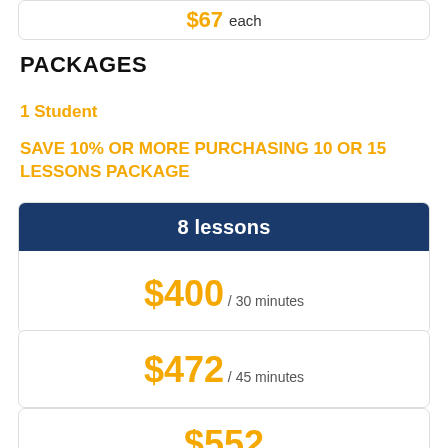$67 each
PACKAGES
1 Student
SAVE 10% OR MORE PURCHASING 10 OR 15 LESSONS PACKAGE
| 8 lessons |
| --- |
| $400 / 30 minutes |
| $472 / 45 minutes |
| $552 |